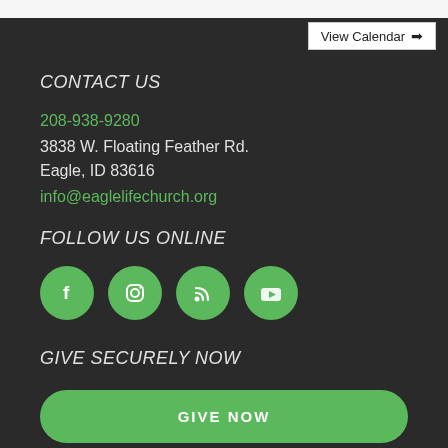[Figure (screenshot): Top white bar fragment]
View Calendar →
CONTACT US
208-938-9280
3838 W. Floating Feather Rd.
Eagle, ID 83616
info@eaglelifechurch.org
FOLLOW US ONLINE
[Figure (infographic): Four green social media icon circles: Facebook, Instagram, RSS, YouTube]
GIVE SECURELY NOW
GIVE NOW